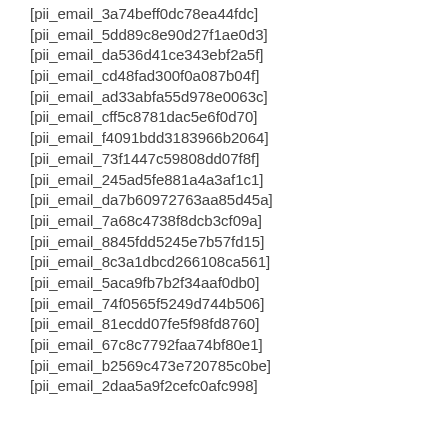[pii_email_3a74beff0dc78ea44fdc]
[pii_email_5dd89c8e90d27f1ae0d3]
[pii_email_da536d41ce343ebf2a5f]
[pii_email_cd48fad300f0a087b04f]
[pii_email_ad33abfa55d978e0063c]
[pii_email_cff5c8781dac5e6f0d70]
[pii_email_f4091bdd3183966b2064]
[pii_email_73f1447c59808dd07f8f]
[pii_email_245ad5fe881a4a3af1c1]
[pii_email_da7b60972763aa85d45a]
[pii_email_7a68c4738f8dcb3cf09a]
[pii_email_8845fdd5245e7b57fd15]
[pii_email_8c3a1dbcd266108ca561]
[pii_email_5aca9fb7b2f34aaf0db0]
[pii_email_74f0565f5249d744b506]
[pii_email_81ecdd07fe5f98fd8760]
[pii_email_67c8c7792faa74bf80e1]
[pii_email_b2569c473e720785c0be]
[pii_email_2daa5a9f2cefc0afc998]